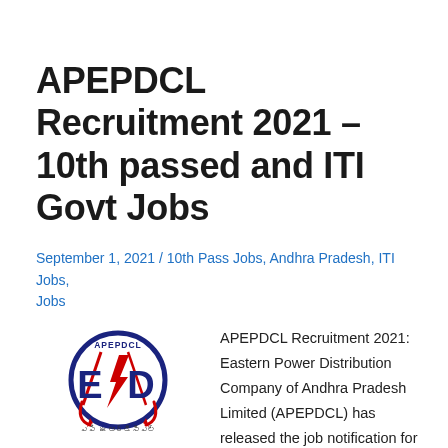APEPDCL Recruitment 2021 – 10th passed and ITI Govt Jobs
September 1, 2021 / 10th Pass Jobs, Andhra Pradesh, ITI Jobs, Jobs
[Figure (logo): APEPDCL logo — circular emblem with 'E/D' letters and lightning bolt, red arrows, and Telugu text below reading 'ఎపి ఈఆర్డీసీఎల్']
APEPDCL Recruitment 2021: Eastern Power Distribution Company of Andhra Pradesh Limited (APEPDCL) has released the job notification for the post of Energy Assistants (Junior Lineman Gr. II). Interested candidates